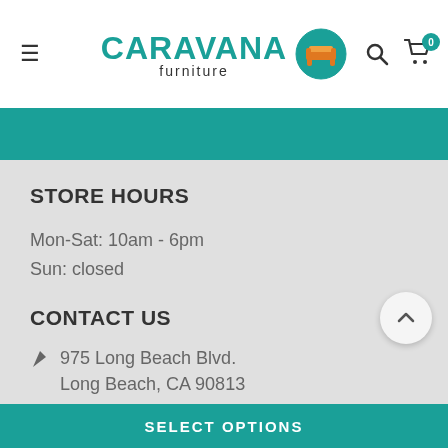CARAVANA furniture
STORE HOURS
Mon-Sat: 10am - 6pm
Sun: closed
CONTACT US
975 Long Beach Blvd.
Long Beach, CA 90813
(562) 432-0562
sales@CaravanaFurniture.com
SELECT OPTIONS